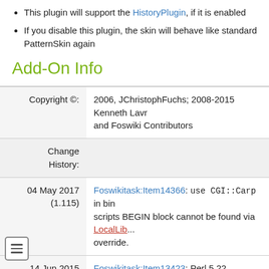This plugin will support the HistoryPlugin, if it is enabled
If you disable this plugin, the skin will behave like standard PatternSkin again
Add-On Info
| Copyright ©: | 2006, JChristophFuchs; 2008-2015 Kenneth Lav... and Foswiki Contributors |
| Change History: |  |
| 04 May 2017 (1.115) | Foswikitask:Item14366: use CGI::Carp in bin scripts BEGIN block cannot be found via LocalLib... override. |
| 14 Jun 2015 (1.114) | Foswikitask:Item13423: Perl 5.22 deprecations. Foswikitask:Item13378: Support utf-8 internally. |
| 18 Dec 2014 (1.113) | Foswikitask:Item13068: Remove the CompareRevisionsAddOn demo, don't ship revisi... history Foswikitask:Item11727: Change hardcoded Ma... |